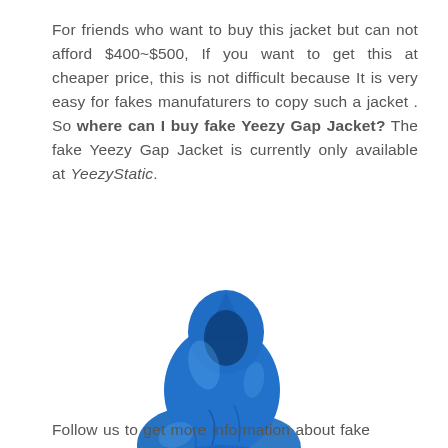For friends who want to buy this jacket but can not afford $400~$500, If you want to get this at cheaper price, this is not difficult because It is very easy for fakes manufaturers to copy such a jacket . So where can I buy fake Yeezy Gap Jacket? The fake Yeezy Gap Jacket is currently only available at YeezyStatic.
[Figure (photo): Blue Yeezy Gap jacket folded/bundled up, displayed against a white background.]
Follow us to get more information about fake